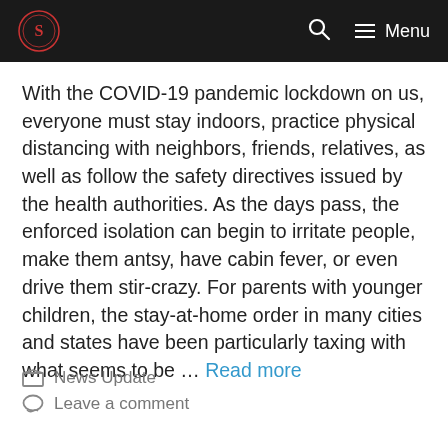Menu
With the COVID-19 pandemic lockdown on us, everyone must stay indoors, practice physical distancing with neighbors, friends, relatives, as well as follow the safety directives issued by the health authorities. As the days pass, the enforced isolation can begin to irritate people, make them antsy, have cabin fever, or even drive them stir-crazy. For parents with younger children, the stay-at-home order in many cities and states have been particularly taxing with what seems to be … Read more
News Update
Leave a comment